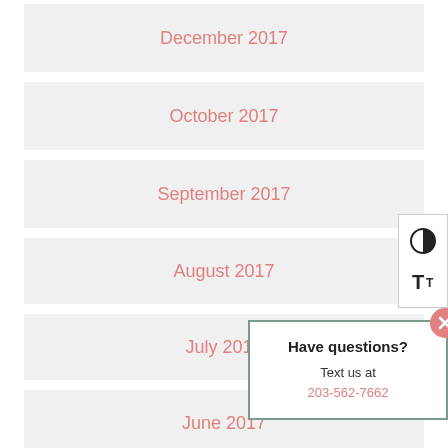December 2017
October 2017
September 2017
August 2017
July 2017
June 2017
May 2017
Have questions?
Text us at
203-562-7662